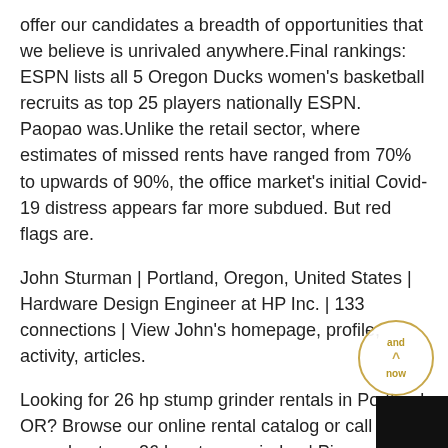offer our candidates a breadth of opportunities that we believe is unrivaled anywhere.Final rankings: ESPN lists all 5 Oregon Ducks women's basketball recruits as top 25 players nationally ESPN. Paopao was.Unlike the retail sector, where estimates of missed rents have ranged from 70% to upwards of 90%, the office market's initial Covid-19 distress appears far more subdued. But red flags are.
John Sturman | Portland, Oregon, United States | Hardware Design Engineer at HP Inc. | 133 connections | View John's homepage, profile, activity, articles.
Looking for 26 hp stump grinder rentals in Portland OR? Browse our online rental catalog or call us about our 26 hp stump grinder. | Pioneer Rental